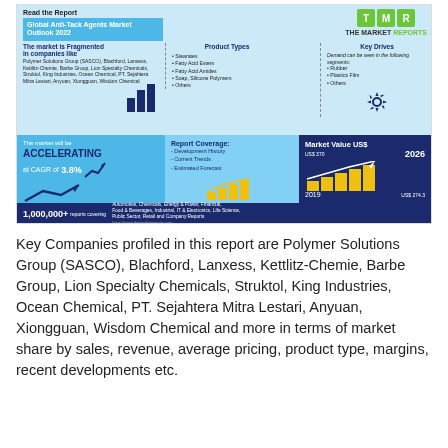[Figure (infographic): Global Anti-Tack Agents Market Outlook 2022 infographic from The Market Reports (TMR). Shows market fragmentation, product types, key drives, CAGR of 3.8%, report coverage areas, market value from US$274.3 in 2019 to US$370 in 2026, and 1,000,000+ reports covering multiple sectors.]
Key Companies profiled in this report are Polymer Solutions Group (SASCO), Blachford, Lanxess, Kettlitz-Chemie, Barbe Group, Lion Specialty Chemicals, Struktol, King Industries, Ocean Chemical, PT. Sejahtera Mitra Lestari, Anyuan, Xiongguan, Wisdom Chemical and more in terms of market share by sales, revenue, average pricing, product type, margins, recent developments etc.